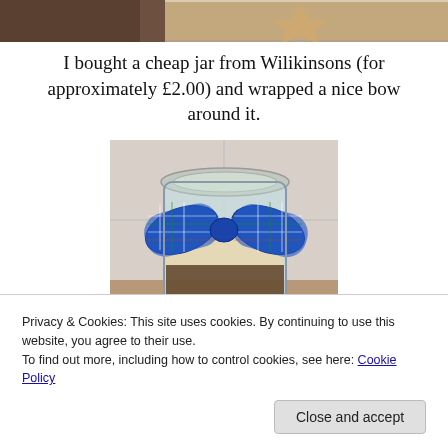[Figure (photo): Partial top photo showing cookies/baked goods on a surface]
I bought a cheap jar from Wilikinsons (for approximately £2.00) and wrapped a nice bow around it.
[Figure (photo): A glass jar with a blue plaid bow tied around it, containing layered cookie mix or cookies inside]
Privacy & Cookies: This site uses cookies. By continuing to use this website, you agree to their use.
To find out more, including how to control cookies, see here: Cookie Policy
Close and accept